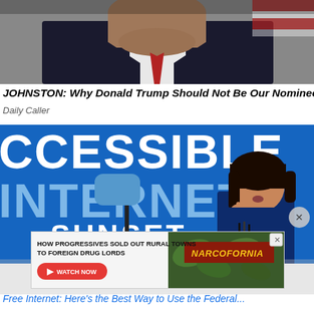[Figure (photo): Close-up photo of a man in a dark suit and white shirt, face visible from chin level, American flag in background]
JOHNSTON: Why Donald Trump Should Not Be Our Nominee
Daily Caller
[Figure (photo): Kamala Harris speaking at a podium in front of a large blue backdrop reading ACCESSIBLE INTERNET SUNSET, gesturing with one finger raised]
[Figure (photo): Advertisement overlay: HOW PROGRESSIVES SOLD OUT RURAL TOWNS TO FOREIGN DRUG LORDS - NARCOFORNIA - WATCH NOW button]
Free Internet: Here's the Best Way to Use the Federal...